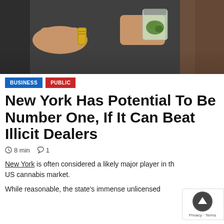[Figure (photo): Two hands exchanging rolled cash and a small container of cannabis against a dark blurred background]
BUSINESS
PUBLIC
New York Has Potential To Be Number One, If It Can Beat Illicit Dealers
8 min  1
New York is often considered a likely major player in the US cannabis market.
While reasonable, the state's immense unlicensed